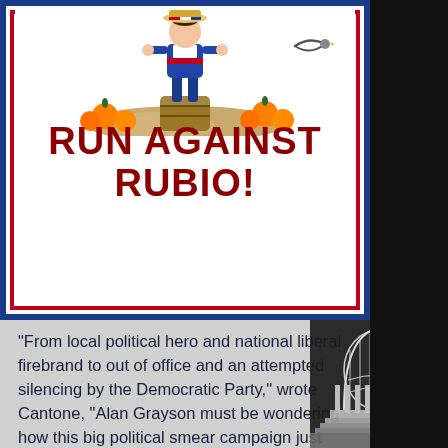[Figure (illustration): Political poster-style illustration showing a figure in a sailor/patriotic outfit with a straw hat decorated in red-white-blue ribbon, surrounded by oranges and a seagull. Large bold red text reads 'RUN AGAINST RUBIO!' inside a blue-and-red bordered frame.]
"From local political hero and national liberal firebrand to out of office and an attempted silencing by the Democratic Party," wrote Cantone, "Alan Grayson must be wondering how this big political smear campaign just won't go away. While most of the media and political establishment want you to know a domestic abuse allegation was made against the former Congressman, there's much more to the story. In fact, what is being left out of mainstream